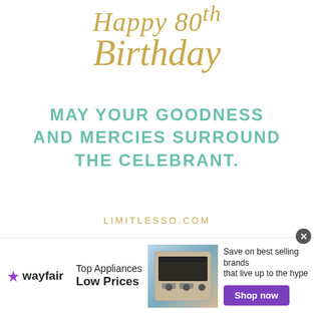Happy Birthday
MAY YOUR GOODNESS AND MERCIES SURROUND THE CELEBRANT.
LIMITLESSO.COM
[Figure (illustration): Colorful confetti sprinkles scattered across the bottom portion of the card]
[Figure (infographic): Wayfair advertisement banner: Top Appliances Low Prices, Save on best selling brands that live up to the hype, Shop now button, stove/range appliance image]